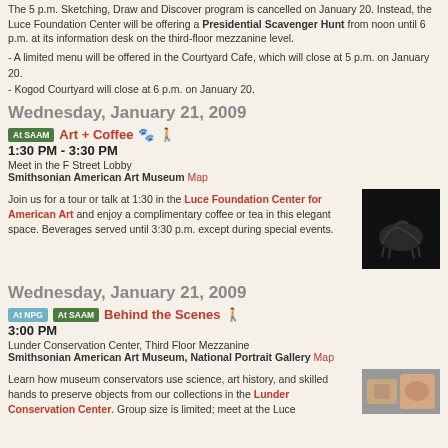The 5 p.m. Sketching, Draw and Discover program is cancelled on January 20. Instead, the Luce Foundation Center will be offering a Presidential Scavenger Hunt from noon until 6 p.m. at its information desk on the third-floor mezzanine level.
A limited menu will be offered in the Courtyard Cafe, which will close at 5 p.m. on January 20.
Kogod Courtyard will close at 6 p.m. on January 20.
Wednesday, January 21, 2009
At SAAM  Art + Coffee  1:30 PM - 3:30 PM  Meet in the F Street Lobby  Smithsonian American Art Museum Map
Join us for a tour or talk at 1:30 in the Luce Foundation Center for American Art and enjoy a complimentary coffee or tea in this elegant space. Beverages served until 3:30 p.m. except during special events.
[Figure (photo): Dark silhouette of a horse sculpture against a dark background]
Wednesday, January 21, 2009
At NPG  At SAAM  Behind the Scenes  3:00 PM  Lunder Conservation Center, Third Floor Mezzanine  Smithsonian American Art Museum, National Portrait Gallery Map
Learn how museum conservators use science, art history, and skilled hands to preserve objects from our collections in the Lunder Conservation Center. Group size is limited; meet at the Luce
[Figure (photo): Close-up photo of hands working on conservation]